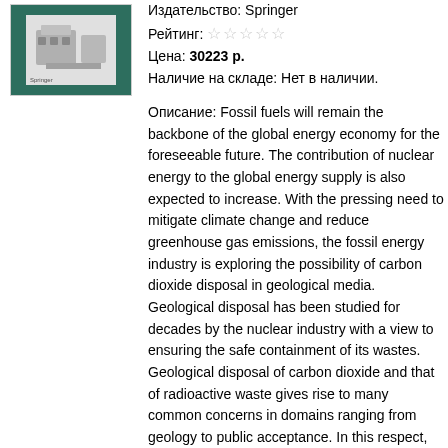[Figure (photo): Book cover thumbnail showing a green background with a white/gray image of industrial equipment, publisher logo at bottom left]
Издательство: Springer
Рейтинг: ☆☆☆☆☆
Цена: 30223 р.
Наличие на складе: Нет в наличии.
Описание: Fossil fuels will remain the backbone of the global energy economy for the foreseeable future. The contribution of nuclear energy to the global energy supply is also expected to increase. With the pressing need to mitigate climate change and reduce greenhouse gas emissions, the fossil energy industry is exploring the possibility of carbon dioxide disposal in geological media. Geological disposal has been studied for decades by the nuclear industry with a view to ensuring the safe containment of its wastes. Geological disposal of carbon dioxide and that of radioactive waste gives rise to many common concerns in domains ranging from geology to public acceptance. In this respect, comparative assessments reveal many similarities, ranging from the transformation of the geological environment and safety and monitoring concerns to regulatory, liability and public acceptance issues. However, there are profound differences on a broad range of issues as well as the quantities and long...